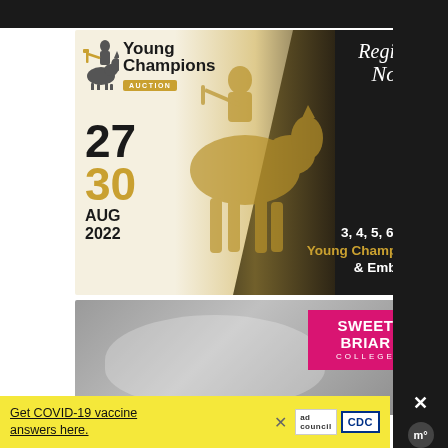[Figure (photo): Young Champions Auction advertisement showing a horse and rider silhouette with gold and dark background, featuring dates 27-30 August 2022, for 3,4,5,6 year old Young Champions and Embryos, with 'Register Now' call to action]
[Figure (photo): Sweet Briar College advertisement showing a rider on a white horse with pink Sweet Briar College logo badge]
Get COVID-19 vaccine answers here.